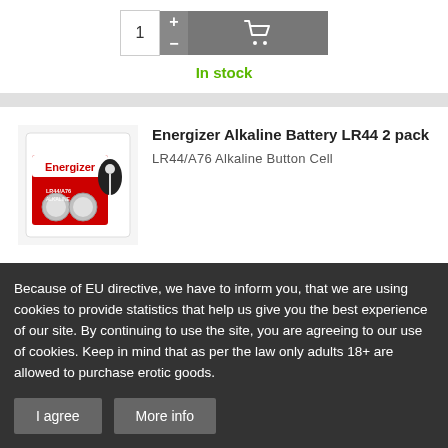In stock
Energizer Alkaline Battery LR44 2 pack
LR44/A76 Alkaline Button Cell
3.79 € 1.49 €
Because of EU directive, we have to inform you, that we are using cookies to provide statistics that help us give you the best experience of our site. By continuing to use the site, you are agreeing to our use of cookies. Keep in mind that as per the law only adults 18+ are allowed to purchase erotic goods.
I agree
More info